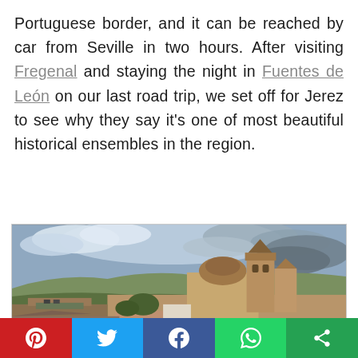Portuguese border, and it can be reached by car from Seville in two hours. After visiting Fregenal and staying the night in Fuentes de León on our last road trip, we set off for Jerez to see why they say it's one of most beautiful historical ensembles in the region.
[Figure (photo): Aerial view of Jerez de los Caballeros, showing a historic church with a baroque tower and dome dominating the skyline, with terracotta rooftops, stone walls, and rolling green countryside in the background under a dramatic cloudy sky.]